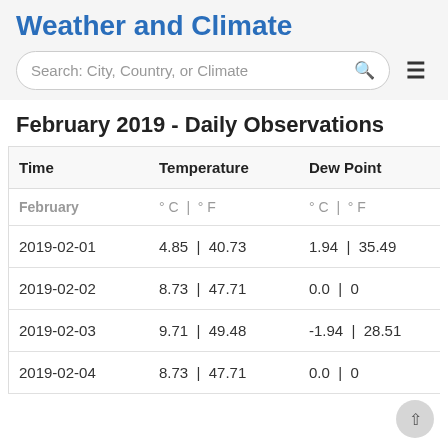Weather and Climate
[Figure (screenshot): Search bar with text 'Search: City, Country, or Climate' and a hamburger menu icon]
February 2019 - Daily Observations
| Time | Temperature | Dew Point | Hum |
| --- | --- | --- | --- |
| February | ° C | ° F | ° C | ° F |  |
| 2019-02-01 | 4.85 | 40.73 | 1.94 | 35.49 |  |
| 2019-02-02 | 8.73 | 47.71 | 0.0 | 0 |  |
| 2019-02-03 | 9.71 | 49.48 | -1.94 | 28.51 |  |
| 2019-02-04 | 8.73 | 47.71 | 0.0 | 0 |  |